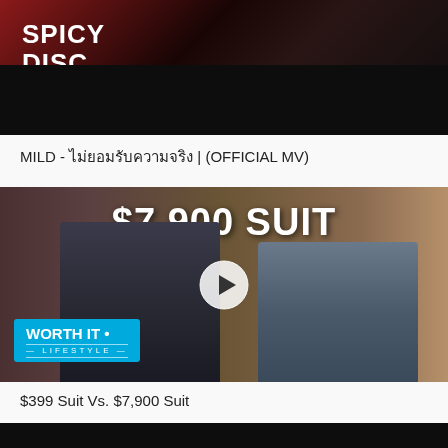[Figure (screenshot): Video thumbnail with SPICY DISC logo on dark red/black background, showing silhouettes]
MILD - ไม่ยอมรับความจริง | (OFFICIAL MV)
[Figure (screenshot): Video thumbnail showing two men in suits with text '$7,900 SUIT' and 'WORTH IT LIFESTYLE' badge, with play button overlay]
$399 Suit Vs. $7,900 Suit
[Figure (screenshot): Dark video thumbnail at bottom, partially visible]